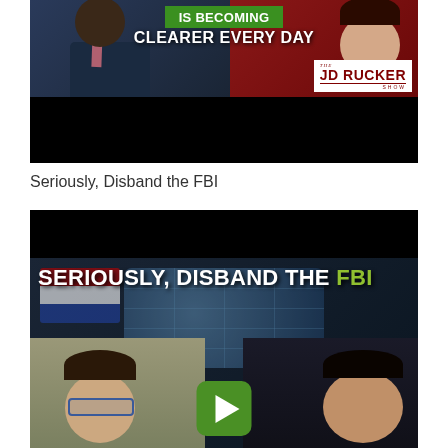[Figure (screenshot): Video thumbnail for JD Rucker Show with text 'IS BECOMING CLEARER EVERY DAY' overlaid on two people. Split screen: man in suit on left (dark background), woman on right (red background). JD Rucker Show logo in lower right of thumbnail. Bottom half is black (video player area).]
Seriously, Disband the FBI
[Figure (screenshot): Video thumbnail with text 'SERIOUSLY, DISBAND THE FBI' where FBI is in green/yellow color. Shows two people (woman with glasses on left, man on right) in a news studio setting with globe background. Green play button in the center. Top portion is black (video player area).]